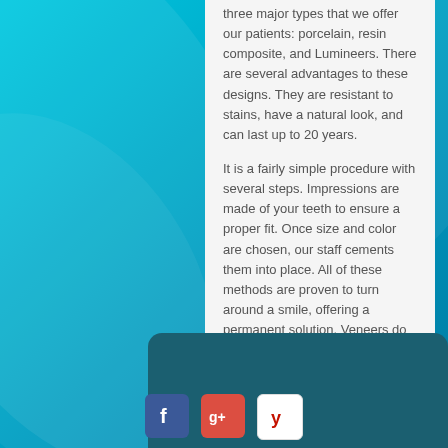three major types that we offer our patients: porcelain, resin composite, and Lumineers. There are several advantages to these designs. They are resistant to stains, have a natural look, and can last up to 20 years.
It is a fairly simple procedure with several steps. Impressions are made of your teeth to ensure a proper fit. Once size and color are chosen, our staff cements them into place. All of these methods are proven to turn around a smile, offering a permanent solution. Veneers do have to be taken care of, so make sure that you continue to maintain good at home oral hygiene to get the best results.
For Beverly Hills dental veneers, the expert cosmetic dentists at Pacific Dental Care are ready to introduce you to the right solution for you. Call today for a consultation. We have same day appointments available.
[Figure (other): Footer bar with Facebook, Google+, and Yelp social media icons on a dark teal background]